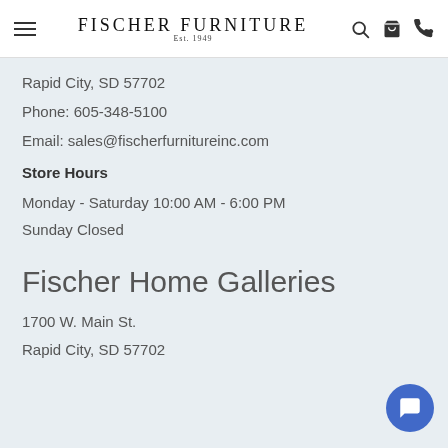Fischer Furniture Est. 1949
Rapid City, SD 57702
Phone: 605-348-5100
Email: sales@fischerfurnitureinc.com
Store Hours
Monday - Saturday 10:00 AM - 6:00 PM
Sunday Closed
Fischer Home Galleries
1700 W. Main St.
Rapid City, SD 57702